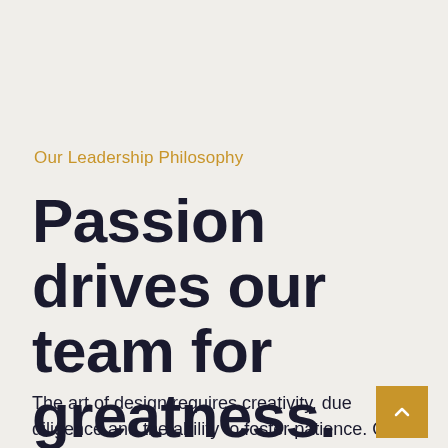Our Leadership Philosophy
Passion drives our team for greatness.
The art of design requires creativity, due diligence and the ability to foster patience. Our lives are complex, with people, places and things.
[Figure (other): Gold/amber square button with upward chevron arrow for scroll to top navigation]